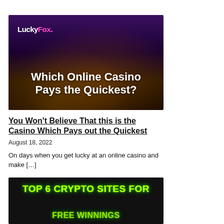[Figure (photo): LuckyFox branded casino banner with purple/dark background, decorated figure, and white bold text reading 'Which Online Casino Pays the Quickest?']
You Won't Believe That this is the Casino Which Pays out the Quickest
August 18, 2022
On days when you get lucky at an online casino and make […]
[Figure (photo): Dark banner with bright green glowing text reading 'Top 6 Crypto Sites for' and partially visible second line]